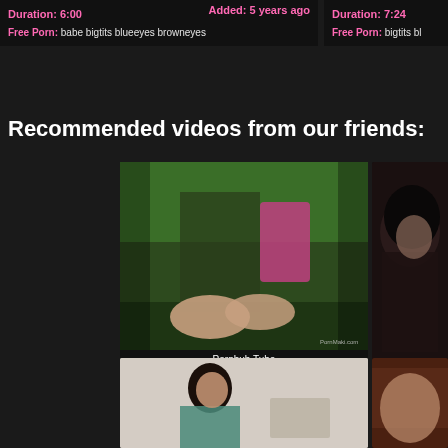Duration: 6:00   Added: 5 years ago
Free Porn: babe bigtits blueeyes browneyes
Duration: 7:24
Free Porn: bigtits b...
Recommended videos from our friends:
[Figure (photo): Outdoor adult video thumbnail with watermark PornMaki.com, labeled Pornhub Tube]
[Figure (photo): Partial thumbnail of dark-haired person, right side card]
[Figure (photo): Indoor adult video thumbnail bottom left]
[Figure (photo): Partial thumbnail bottom right card]